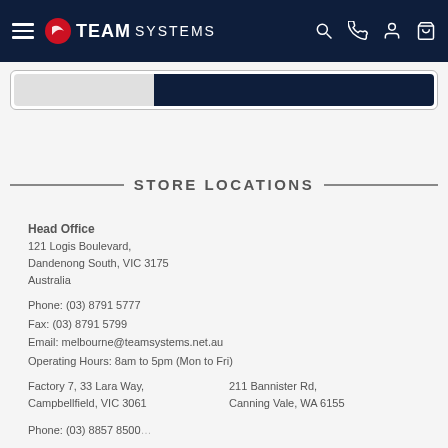Team Systems navigation bar with hamburger menu, logo, search, phone, account, and cart icons
STORE LOCATIONS
Head Office
121 Logis Boulevard,
Dandenong South, VIC 3175
Australia
Phone: (03) 8791 5777
Fax: (03) 8791 5799
Email: melbourne@teamsystems.net.au
Operating Hours: 8am to 5pm (Mon to Fri)
Factory 7, 33 Lara Way,
Campbellfield, VIC 3061
211 Bannister Rd,
Canning Vale, WA 6155
Phone: (03) 8857 8500